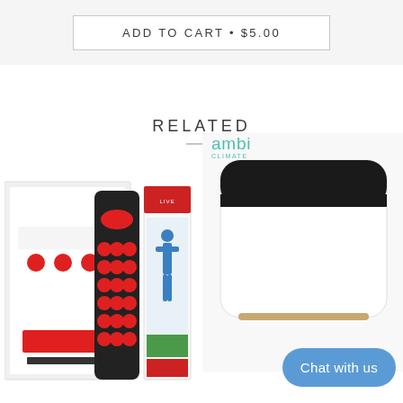ADD TO CART • $5.00
RELATED
[Figure (photo): Golf training product package set with red button remote and golf instruction book/DVD]
[Figure (photo): Ambi Climate smart AC controller device - white square device with black top, ambi climate logo visible, with 'Chat with us' button overlay]